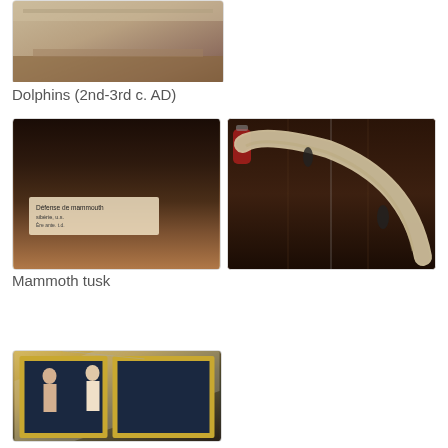[Figure (photo): Partial view of a display or artifact related to dolphins on a wooden surface]
Dolphins (2nd-3rd c. AD)
[Figure (photo): Museum display case showing a mammoth tusk label/placard in a dark wooden cabinet]
[Figure (photo): Large curved mammoth tusk displayed in a glass cabinet against a wooden panel background]
Mammoth tusk
[Figure (photo): Two framed classical paintings in ornate gold frames showing figures in ancient Greek or Roman style dress]